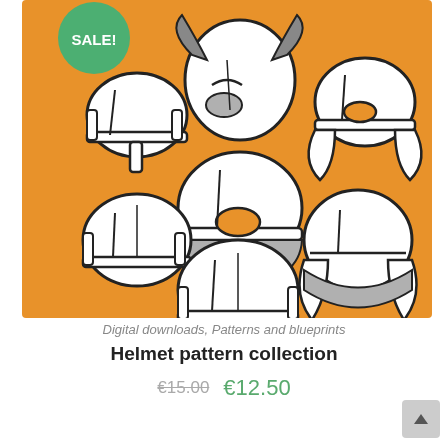[Figure (illustration): Product image on orange/amber background showing 7 medieval helmet illustrations in white outline style with black borders. A green circle badge with 'SALE!' text appears in the top-left corner. Helmets shown include: Norman/nasal helmets, a spartan/Trojan style winged helmet, a Viking helmet with eye guards, a Roman legionnaire helmet, and rounded skullcap helmets. The helmets are arranged in a 3x3 grid pattern.]
Digital downloads, Patterns and blueprints
Helmet pattern collection
€15.00  €12.50